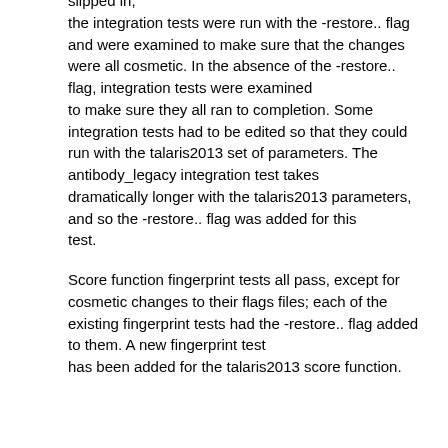slipped in, the integration tests were run with the -restore.. flag and were examined to make sure that the changes were all cosmetic. In the absence of the -restore.. flag, integration tests were examined to make sure they all ran to completion. Some integration tests had to be edited so that they could run with the talaris2013 set of parameters. The antibody_legacy integration test takes dramatically longer with the talaris2013 parameters, and so the -restore.. flag was added for this test.
Score function fingerprint tests all pass, except for cosmetic changes to their flags files; each of the existing fingerprint tests had the -restore.. flag added to them. A new fingerprint test has been added for the talaris2013 score function.